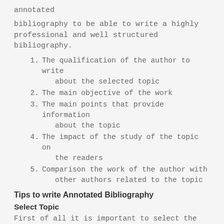annotated
bibliography to be able to write a highly professional and well structured bibliography.
1. The qualification of the author to write about the selected topic
2. The main objective of the work
3. The main points that provide information about the topic
4. The impact of the study of the topic on the readers
5. Comparison the work of the author with other authors related to the topic
Tips to write Annotated Bibliography
Select Topic
First of all it is important to select the most interesting topic. You have to choose a topic on which enough research has been